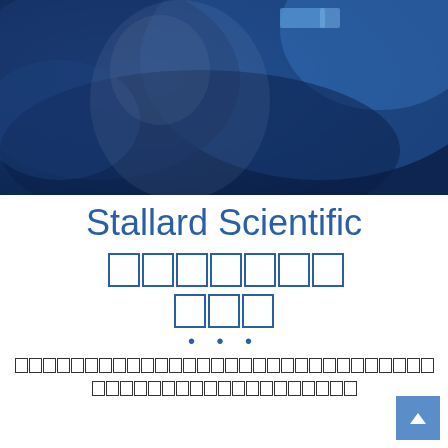[Figure (photo): Dark blue background photo showing a person in a lab coat or scientific setting with blurred blue tones]
Stallard Scientific [CJK characters]
• • •
[CJK placeholder text in two lines representing description content]